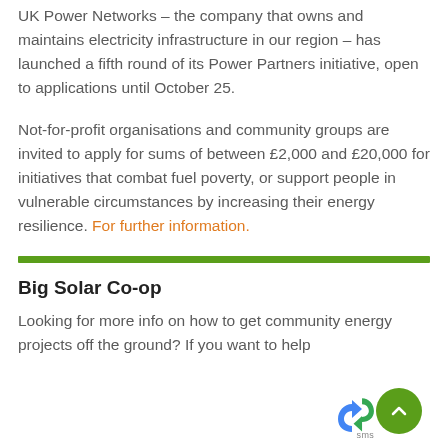UK Power Networks – the company that owns and maintains electricity infrastructure in our region – has launched a fifth round of its Power Partners initiative, open to applications until October 25.
Not-for-profit organisations and community groups are invited to apply for sums of between £2,000 and £20,000 for initiatives that combat fuel poverty, or support people in vulnerable circumstances by increasing their energy resilience. For further information.
Big Solar Co-op
Looking for more info on how to get community energy projects off the ground? If you want to help